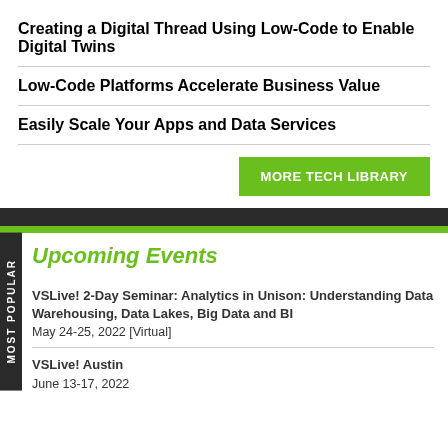Creating a Digital Thread Using Low-Code to Enable Digital Twins
Low-Code Platforms Accelerate Business Value
Easily Scale Your Apps and Data Services
MORE TECH LIBRARY
Upcoming Events
VSLive! 2-Day Seminar: Analytics in Unison: Understanding Data Warehousing, Data Lakes, Big Data and BI
May 24-25, 2022 [Virtual]
VSLive! Austin
June 13-17, 2022